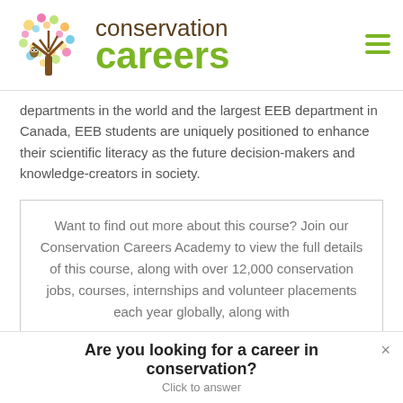[Figure (logo): Conservation Careers logo with colorful tree illustration and text 'conservation careers']
departments in the world and the largest EEB department in Canada, EEB students are uniquely positioned to enhance their scientific literacy as the future decision-makers and knowledge-creators in society.
Want to find out more about this course? Join our Conservation Careers Academy to view the full details of this course, along with over 12,000 conservation jobs, courses, internships and volunteer placements each year globally, along with
Are you looking for a career in conservation?
Click to answer